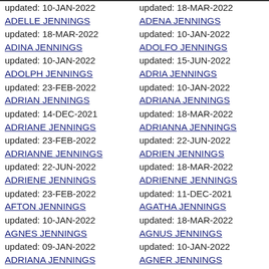updated: 10-JAN-2022
ADELLE JENNINGS
updated: 18-MAR-2022
ADENA JENNINGS
updated: 18-MAR-2022
ADINA JENNINGS
updated: 10-JAN-2022
ADOLFO JENNINGS
updated: 10-JAN-2022
ADOLPH JENNINGS
updated: 15-JUN-2022
ADRIA JENNINGS
updated: 23-FEB-2022
ADRIAN JENNINGS
updated: 10-JAN-2022
ADRIANA JENNINGS
updated: 14-DEC-2021
ADRIANE JENNINGS
updated: 18-MAR-2022
ADRIANNA JENNINGS
updated: 23-FEB-2022
ADRIANNE JENNINGS
updated: 22-JUN-2022
ADRIEN JENNINGS
updated: 22-JUN-2022
ADRIENE JENNINGS
updated: 18-MAR-2022
ADRIENNE JENNINGS
updated: 23-FEB-2022
AFTON JENNINGS
updated: 11-DEC-2021
AGATHA JENNINGS
updated: 10-JAN-2022
AGNES JENNINGS
updated: 18-MAR-2022
AGNUS JENNINGS
updated: 09-JAN-2022
ADRIANA JENNINGS
updated: 10-JAN-2022
AGNER JENNINGS